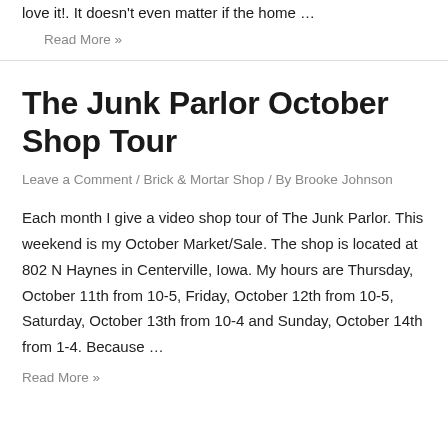love it!. It doesn't even matter if the home …
Read More »
The Junk Parlor October Shop Tour
Leave a Comment / Brick & Mortar Shop / By Brooke Johnson
Each month I give a video shop tour of The Junk Parlor.  This weekend is my October Market/Sale.  The shop is located at 802 N Haynes in Centerville, Iowa.  My hours are Thursday, October 11th from 10-5, Friday, October 12th from 10-5, Saturday, October 13th from 10-4 and Sunday, October 14th from 1-4.    Because …
Read More »